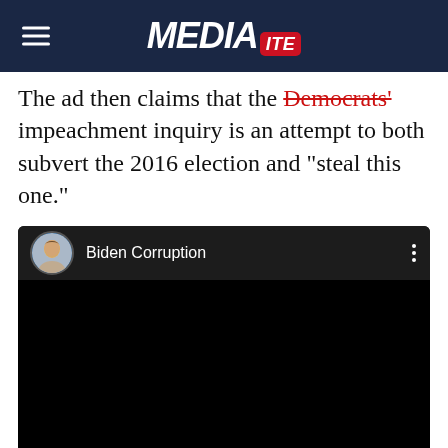MEDIAITE
The ad then claims that the Democrats' impeachment inquiry is an attempt to both subvert the 2016 election and “steal this one.”
[Figure (screenshot): Embedded YouTube-style video player with dark background. Top bar shows a circular avatar with a man's portrait, the title 'Biden Corruption', and a three-dot menu icon. The video area is solid black.]